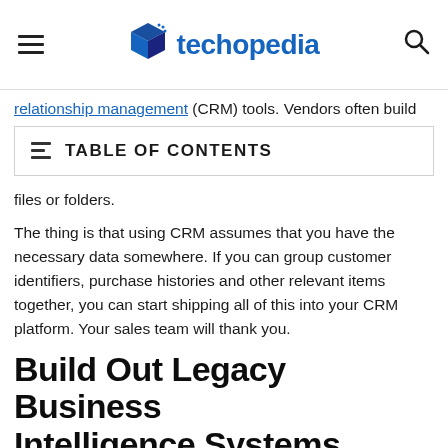techopedia
relationship management (CRM) tools. Vendors often build
TABLE OF CONTENTS
files or folders.
The thing is that using CRM assumes that you have the necessary data somewhere. If you can group customer identifiers, purchase histories and other relevant items together, you can start shipping all of this into your CRM platform. Your sales team will thank you.
Build Out Legacy Business Intelligence Systems